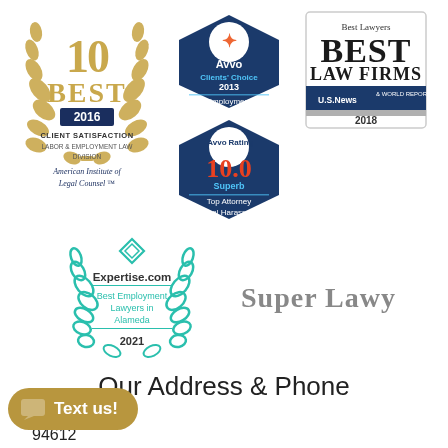[Figure (logo): 10 Best 2016 Client Satisfaction - Labor & Employment Law Division - American Institute of Legal Counsel TM badge with gold laurel wreath]
[Figure (logo): Avvo Clients' Choice 2013 Employment badge (dark blue circular badge)]
[Figure (logo): Avvo Rating 10.0 Superb Top Attorney Sexual Harassment badge (dark blue circular badge with red 10.0)]
[Figure (logo): Best Lawyers Best Law Firms U.S. News 2018 badge]
[Figure (logo): Expertise.com Best Employment Lawyers in Alameda 2021 badge with teal laurel wreath]
[Figure (logo): Super Lawyers logo in gray text]
Our Address & Phone
lway, #700
94612
[Figure (illustration): Text us! button in gold/tan color with chat icon]